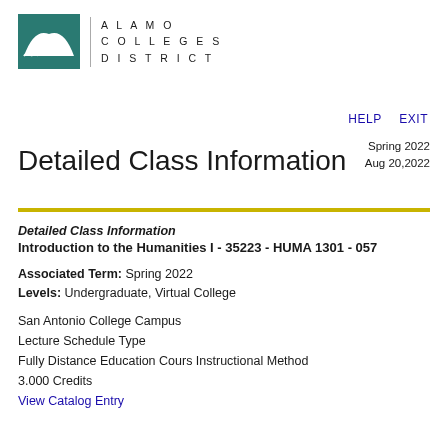[Figure (logo): Alamo Colleges District logo: teal square with white arch and text ALAMO COLLEGES DISTRICT in spaced caps]
HELP   EXIT
Detailed Class Information
Spring 2022
Aug 20,2022
Detailed Class Information
Introduction to the Humanities I - 35223 - HUMA 1301 - 057
Associated Term: Spring 2022
Levels: Undergraduate, Virtual College
San Antonio College Campus
Lecture Schedule Type
Fully Distance Education Cours Instructional Method
3.000 Credits
View Catalog Entry